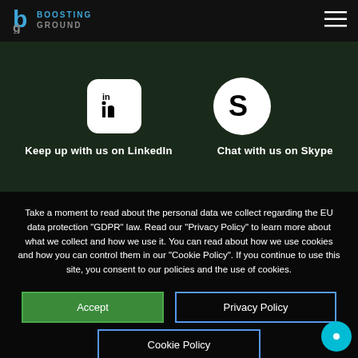[Figure (logo): Boosting Ground logo with blue 'b' and grey 'g' letters and text BOOSTING GROUND in two rows]
[Figure (other): Hamburger menu icon (three horizontal lines) in top right corner]
[Figure (other): LinkedIn white rounded square icon]
[Figure (other): Skype white circle icon]
Keep up with us on LinkedIn
Chat with us on Skype
Take a moment to read about the personal data we collect regarding the EU data protection "GDPR" law. Read our "Privacy Policy" to learn more about what we collect and how we use it. You can read about how we use cookies and how you can control them in our "Cookie Policy". If you continue to use this site, you consent to our policies and the use of cookies.
Accept
Privacy Policy
Cookie Policy